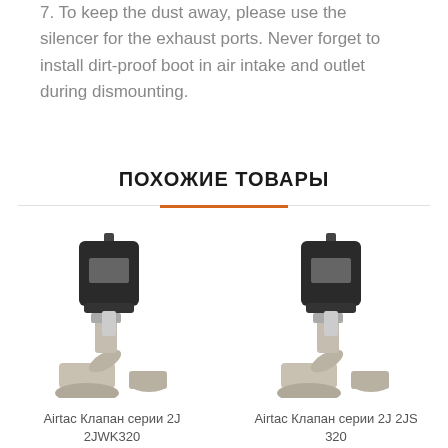7. To keep the dust away, please use the silencer for the exhaust ports. Never forget to install dirt-proof boot in air intake and outlet during dismounting.
ПОХОЖИЕ ТОВАРЫ
[Figure (photo): Airtac angle seat valve 2J 2JWK320 - pneumatic actuated stainless steel valve with black actuator head]
Airtac Клапан серии 2J 2JWK320
[Figure (photo): Airtac angle seat valve 2J 2JS 320 - pneumatic actuated stainless steel valve with black actuator head]
Airtac Клапан серии 2J 2JS 320